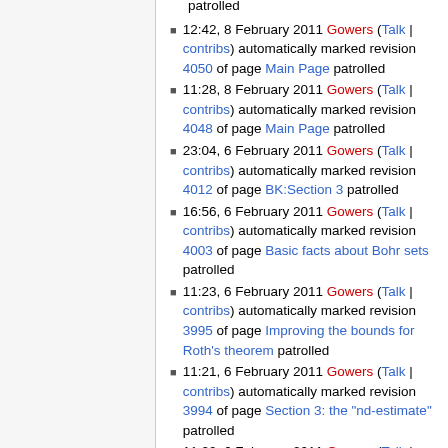patrolled
12:42, 8 February 2011 Gowers (Talk | contribs) automatically marked revision 4050 of page Main Page patrolled
11:28, 8 February 2011 Gowers (Talk | contribs) automatically marked revision 4048 of page Main Page patrolled
23:04, 6 February 2011 Gowers (Talk | contribs) automatically marked revision 4012 of page BK:Section 3 patrolled
16:56, 6 February 2011 Gowers (Talk | contribs) automatically marked revision 4003 of page Basic facts about Bohr sets patrolled
11:23, 6 February 2011 Gowers (Talk | contribs) automatically marked revision 3995 of page Improving the bounds for Roth's theorem patrolled
11:21, 6 February 2011 Gowers (Talk | contribs) automatically marked revision 3994 of page Section 3: the "nd-estimate" patrolled
11:20, 6 February 2011 Gowers (Talk | contribs) automatically marked revision ... Talk |